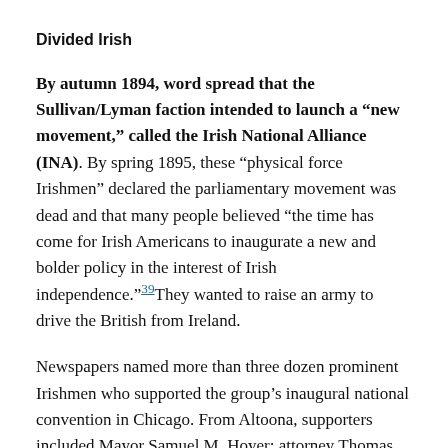Divided Irish
By autumn 1894, word spread that the Sullivan/Lyman faction intended to launch a “new movement,” called the Irish National Alliance (INA). By spring 1895, these “physical force Irishmen” declared the parliamentary movement was dead and that many people believed “the time has come for Irish Americans to inaugurate a new and bolder policy in the interest of Irish independence.”³⁹They wanted to raise an army to drive the British from Ireland.
Newspapers named more than three dozen prominent Irishmen who supported the group’s inaugural national convention in Chicago. From Altoona, supporters included Mayor Samuel M. Hoyer; attorney Thomas Greevy, the son of County Roscommon parents;⁴⁰and alderman and magistrate John O’Toole, formerly of County Armagh.⁴¹ Patrick O’Neill of Philadelphia, the man Carrick named Rossa’s better, was also a supporter of